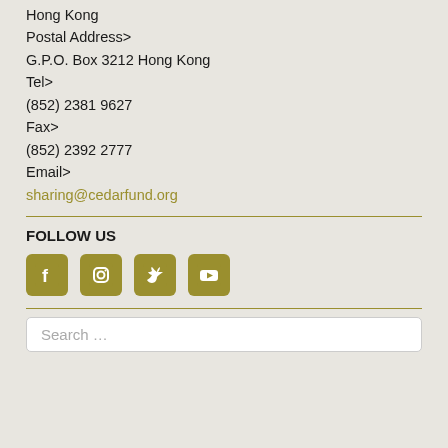Hong Kong
Postal Address>
G.P.O. Box 3212 Hong Kong
Tel>
(852) 2381 9627
Fax>
(852) 2392 2777
Email>
sharing@cedarfund.org
FOLLOW US
[Figure (infographic): Social media icons: Facebook, Instagram, Twitter, YouTube in olive/gold color]
Search …